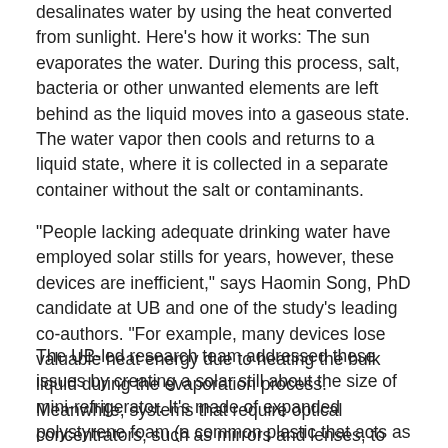desalinates water by using the heat converted from sunlight. Here's how it works: The sun evaporates the water. During this process, salt, bacteria or other unwanted elements are left behind as the liquid moves into a gaseous state. The water vapor then cools and returns to a liquid state, where it is collected in a separate container without the salt or contaminants.
“People lacking adequate drinking water have employed solar stills for years, however, these devices are inefficient,” says Haomin Song, PhD candidate at UB and one of the study’s leading co-authors. “For example, many devices lose valuable heat energy due to heating the bulk liquid during the evaporation process. Meanwhile, systems that require optical concentrators, such as mirrors and lenses, to concentrate the sunlight are costly.”
The UB-led research team addressed these issues by creating a solar still about the size of mini-refrigerator. It’s made of expanded polystyrene foam (a common plastic that acts as a thermal insulator and, if needed, a flotation device) and porous paper coated in carbon black. Like a napkin, the paper absorbs